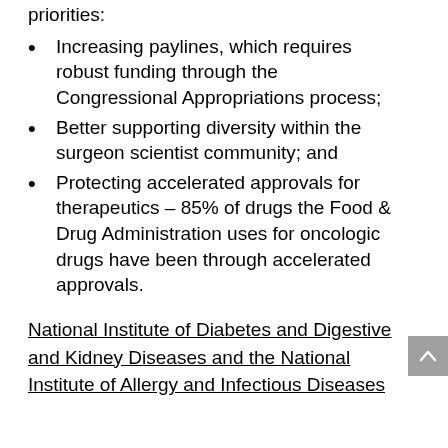priorities:
Increasing paylines, which requires robust funding through the Congressional Appropriations process;
Better supporting diversity within the surgeon scientist community; and
Protecting accelerated approvals for therapeutics – 85% of drugs the Food & Drug Administration uses for oncologic drugs have been through accelerated approvals.
National Institute of Diabetes and Digestive and Kidney Diseases and the National Institute of Allergy and Infectious Diseases